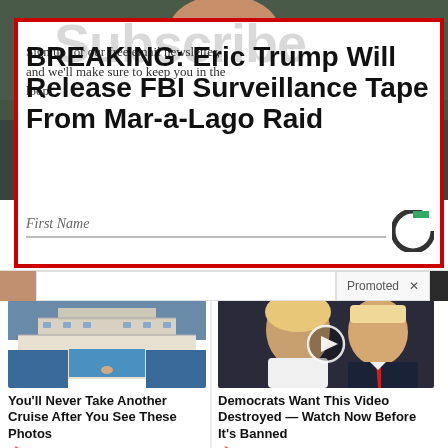[Figure (photo): Photo of a man in dark suit, partially visible, with green background. Red border overlay box with subscription form.]
BREAKING: Eric Trump Will Release FBI Surveillance Tape From Mar-a-Lago Raid
Sign up for our free email newsletter, and we'll make sure to keep you in the loop.
First Name
Promoted
[Figure (photo): Aerial or deck view of a cruise ship with pool]
You'll Never Take Another Cruise After You See These Photos
3,412
[Figure (photo): Photo of a couple, woman with blonde hair and man in suit with red tie, with video play button overlay]
Democrats Want This Video Destroyed — Watch Now Before It's Banned
186,296